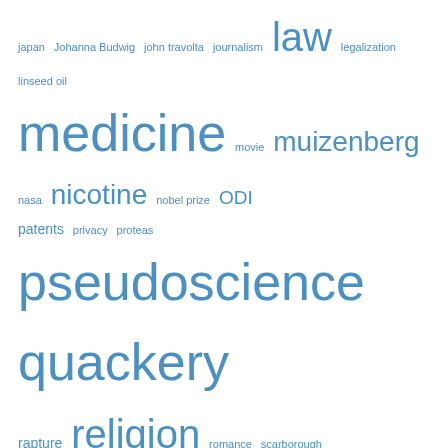[Figure (infographic): Tag cloud showing various topic keywords in different sizes rendered in blue, including: japan, Johanna Budwig, john travolta, journalism, law, legalization, linseed oil, medicine, movie, muizenberg, nasa, nicotine, nobel prize, ODI, patents, privacy, proteas, pseudoscience, quackery, rapture, religion, romance, scarborough, science, sex, soccer, space, testicular cancer, the lancet, the taking of pelham 1-2-3, vaccine, valentine's day, wakefield, willowmoore park, witchcraft, words, world war II, zimbabwe]
There have been
87,438 discerning readers
Top Posts
Quotes